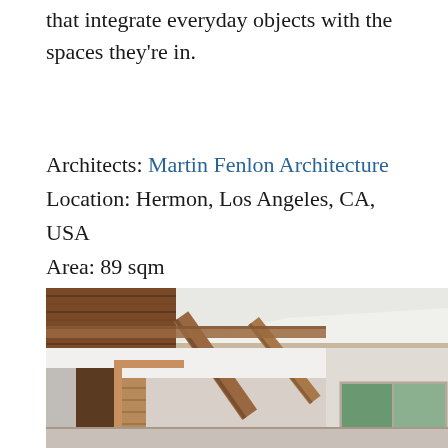that integrate everyday objects with the spaces they're in.
Architects: Martin Fenlon Architecture
Location: Hermon, Los Angeles, CA, USA
Area: 89 sqm
Project Year: 2015
Photographs: Zach Lipp
[Figure (photo): Interior architectural photo showing exposed wooden ceiling beams, white drywall ceiling sections, a wooden door frame, sliding glass window, and natural light from outside trees.]